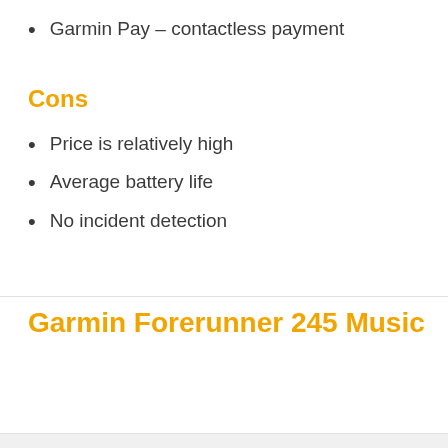Garmin Pay – contactless payment
Cons
Price is relatively high
Average battery life
No incident detection
Garmin Forerunner 245 Music